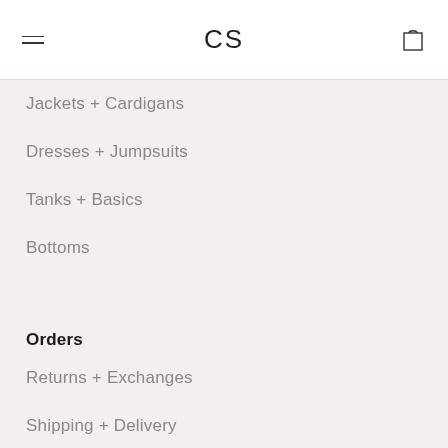CS
Jackets + Cardigans
Dresses + Jumpsuits
Tanks + Basics
Bottoms
Orders
Returns + Exchanges
Shipping + Delivery
Sales Tax
Customer Care
Gift Card